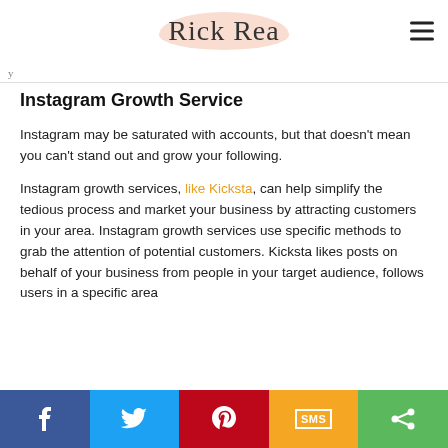Rick Rea
Instagram Growth Service
Instagram may be saturated with accounts, but that doesn't mean you can't stand out and grow your following.
Instagram growth services, like Kicksta, can help simplify the tedious process and market your business by attracting customers in your area. Instagram growth services use specific methods to grab the attention of potential customers. Kicksta likes posts on behalf of your business from people in your target audience, follows users in a specific area
Social share bar: Facebook, Twitter, Pinterest, SMS, Share